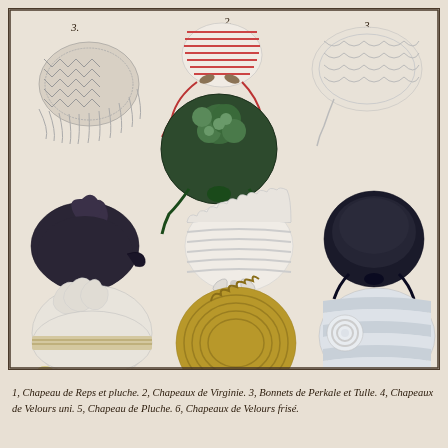[Figure (illustration): A 19th-century French fashion plate illustration showing nine ladies' hats and bonnets labeled with numbers 1 through 6. The hats include straw bonnets with lace trim, green velvet bonnets with floral decoration, dark velvet hats, white lace caps with bows, large plumed hats with ribbon ties, a golden straw bonnet with curled trim, and a striped ribbon bonnet with rosette trim. The illustration is rendered in black and white with some color tinting (green, dark navy, gold/straw yellow).]
1, Chapeau de Reps et pluche. 2, Chapeaux de Virginie. 3, Bonnets de Perkale et Tulle. 4, Chapeaux de Velours uni. 5, Chapeau de Pluche. 6, Chapeaux de Velours frisé.